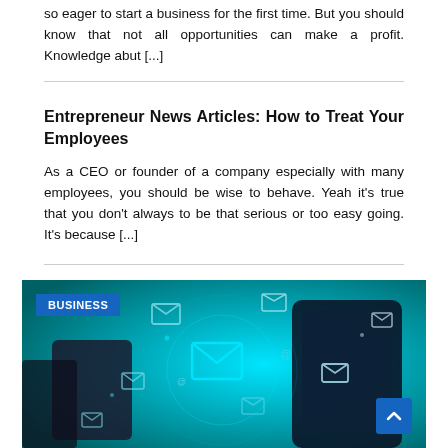so eager to start a business for the first time. But you should know that not all opportunities can make a profit. Knowledge abut [...]
Entrepreneur News Articles: How to Treat Your Employees
As a CEO or founder of a company especially with many employees, you should be wise to behave. Yeah it's true that you don't always to be that serious or too easy going. It's because [...]
[Figure (photo): Teal/cyan background with glowing email envelope icons floating around a smartphone, with a blue BUSINESS badge in the top left and a blue scroll-to-top arrow button in the bottom right]